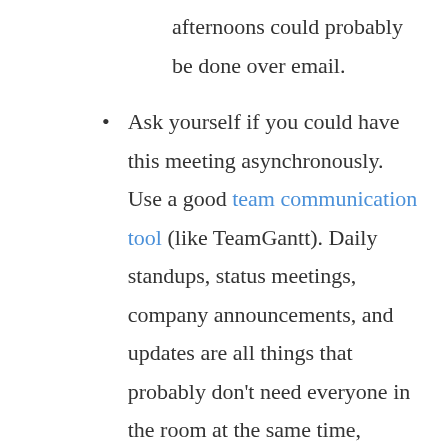afternoons could probably be done over email.
Ask yourself if you could have this meeting asynchronously. Use a good team communication tool (like TeamGantt). Daily standups, status meetings, company announcements, and updates are all things that probably don't need everyone in the room at the same time, interrupting their workflow. Be careful with real time chat tools like Slack, as they can also become a distraction. This leads us to the next tip...